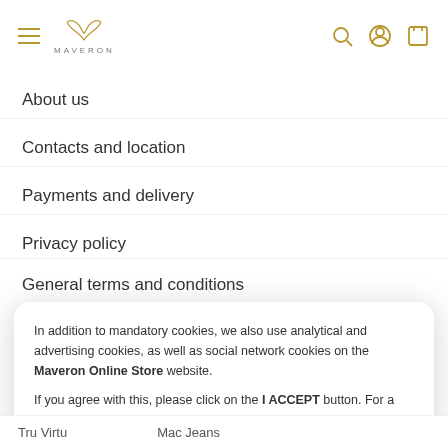MAVERON — header with hamburger menu, logo, search, account, and cart icons
About us
Contacts and location
Payments and delivery
Privacy policy
General terms and conditions
In addition to mandatory cookies, we also use analytical and advertising cookies, as well as social network cookies on the Maveron Online Store website.

If you agree with this, please click on the I ACCEPT button. For a detailed description and in order to set the use of individual cookies, click on the COOKIE SETTINGS link.
Tru Virtu    Mac Jeans